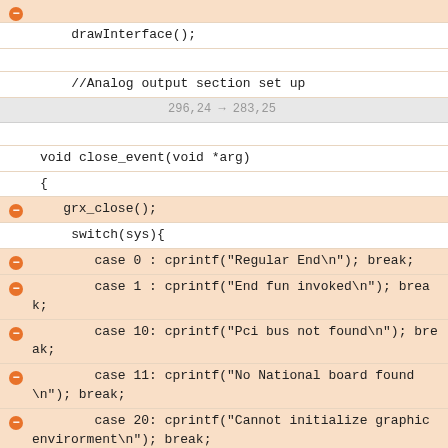- (removed line, icon only)
drawInterface();
//Analog output section set up
296,24 → 283,25
void close_event(void *arg)
{
-     grx_close();
switch(sys){
-         case 0 : cprintf("Regular End\n"); break;
-         case 1 : cprintf("End fun invoked\n"); break;
-         case 10: cprintf("Pci bus not found\n"); break;
-         case 11: cprintf("No National board found\n"); break;
-         case 20: cprintf("Cannot initialize graphic envirorment\n"); break;
-         case 21: cprintf("Cannot start envirorment in 800x600x16\n"); break;
-         case 30: cprintf("Cannot